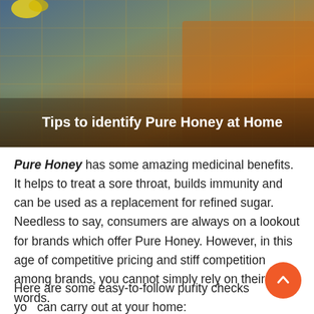[Figure (photo): Close-up photo of honeycomb mesh netting with honey, a yellow flower visible in top left, warm orange and brown tones.]
Tips to identify Pure Honey at Home
Pure Honey has some amazing medicinal benefits. It helps to treat a sore throat, builds immunity and can be used as a replacement for refined sugar. Needless to say, consumers are always on a lookout for brands which offer Pure Honey. However, in this age of competitive pricing and stiff competition among brands, you cannot simply rely on their words.
Here are some easy-to-follow purity checks you can carry out at your home: